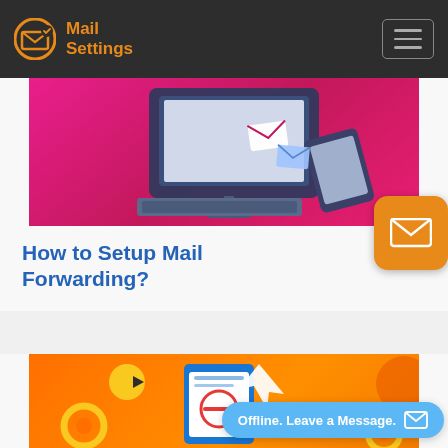Mail Settings
[Figure (illustration): Isometric illustration of a desktop computer monitor with keyboard, a smartphone, and email envelopes flying between them on a pink/magenta gradient background.]
How to Setup Mail Forwarding?
[Figure (illustration): Orange gradient background illustration showing a tablet/document with a no-entry symbol, gears, paper airplane, and send icon — related to email blocking or forwarding setup.]
Offline. Leave a Message.